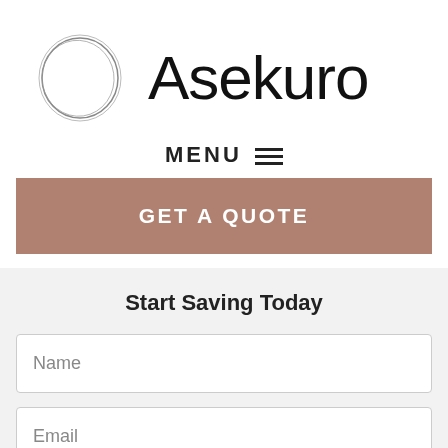[Figure (logo): Asekuro logo: hand-drawn circle icon on the left and the word 'Asekuro' in large thin font on the right]
MENU ☰
GET A QUOTE
Start Saving Today
Name
Email